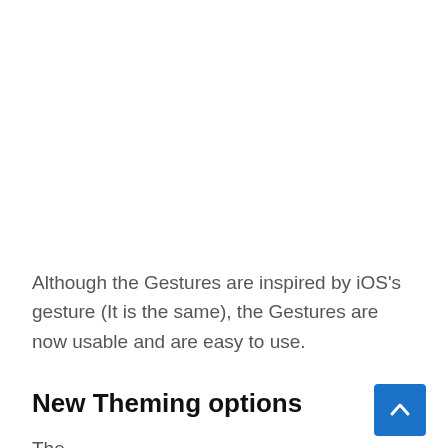Although the Gestures are inspired by iOS's gesture (It is the same), the Gestures are now usable and are easy to use.
New Theming options
The…